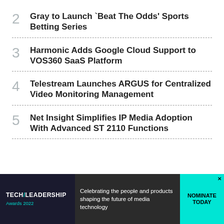2 Gray to Launch `Beat The Odds' Sports Betting Series
3 Harmonic Adds Google Cloud Support to VOS360 SaaS Platform
4 Telestream Launches ARGUS for Centralized Video Monitoring Management
5 Net Insight Simplifies IP Media Adoption With Advanced ST 2110 Functions
[Figure (infographic): Tech Leadership Awards 2022 banner ad. Reads: Celebrating the people and products shaping the future of media technology. NOMINATE TODAY button.]